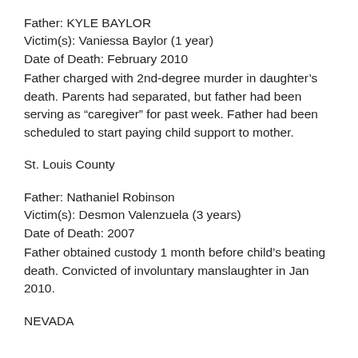Father: KYLE BAYLOR
Victim(s): Vaniessa Baylor (1 year)
Date of Death: February 2010
Father charged with 2nd-degree murder in daughter’s death. Parents had separated, but father had been serving as “caregiver” for past week. Father had been scheduled to start paying child support to mother.
St. Louis County
Father: Nathaniel Robinson
Victim(s): Desmon Valenzuela (3 years)
Date of Death: 2007
Father obtained custody 1 month before child’s beating death. Convicted of involuntary manslaughter in Jan 2010.
NEVADA